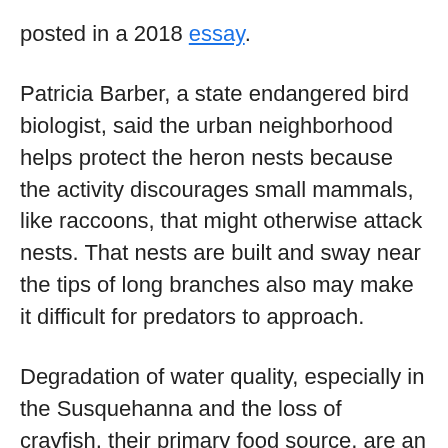posted in a 2018 essay.
Patricia Barber, a state endangered bird biologist, said the urban neighborhood helps protect the heron nests because the activity discourages small mammals, like raccoons, that might otherwise attack nests. That nests are built and sway near the tips of long branches also may make it difficult for predators to approach.
Degradation of water quality, especially in the Susquehanna and the loss of crayfish, their primary food source, are an ever-present threat to the birds.